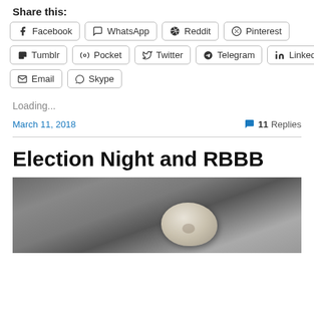Share this:
Facebook  WhatsApp  Reddit  Pinterest  Tumblr  Pocket  Twitter  Telegram  LinkedIn  Email  Skype
Loading...
March 11, 2018   11 Replies
Election Night and RBBB
[Figure (photo): A white/cream colored smooth rock or pebble resting on a sandy or gravelly surface.]